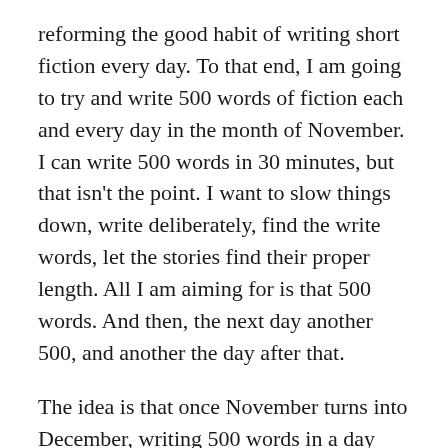reforming the good habit of writing short fiction every day. To that end, I am going to try and write 500 words of fiction each and every day in the month of November. I can write 500 words in 30 minutes, but that isn't the point. I want to slow things down, write deliberately, find the write words, let the stories find their proper length. All I am aiming for is that 500 words. And then, the next day another 500, and another the day after that.
The idea is that once November turns into December, writing 500 words in a day will be a part of my routine. On December 1 I'll write another 500 and on December 2 and 3rd and 4th as well.
Now, I could write 500 words each day and